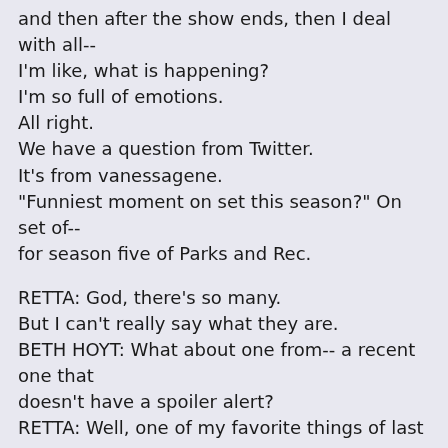and then after the show ends, then I deal with all-- I'm like, what is happening? I'm so full of emotions. All right. We have a question from Twitter. It's from vanessagene. "Funniest moment on set this season?" On set of-- for season five of Parks and Rec.

RETTA: God, there's so many. But I can't really say what they are. BETH HOYT: What about one from-- a recent one that doesn't have a spoiler alert? RETTA: Well, one of my favorite things of last season was the water fight, because I was the only one that didn't get wet. So I got to stand outside with the hose pointed at Jim O'Heir, AKA Jerry Gergich. And Aubrey was chasing Rashida around the office. And she kept trying to throw water balloons at me.